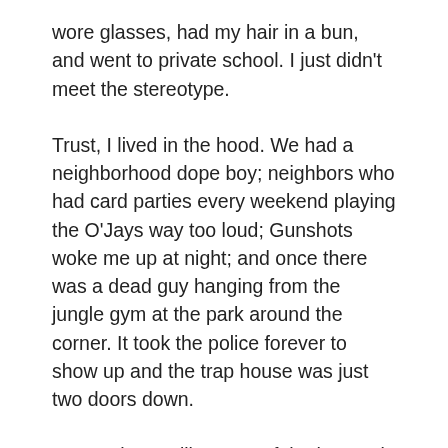wore glasses, had my hair in a bun, and went to private school. I just didn't meet the stereotype.
Trust, I lived in the hood. We had a neighborhood dope boy; neighbors who had card parties every weekend playing the O'Jays way too loud; Gunshots woke me up at night; and once there was a dead guy hanging from the jungle gym at the park around the corner. It took the police forever to show up and the trap house was just two doors down.
But our home, like most of the homes in the area, was a multi-unit family home my Grandparents bought with their good state